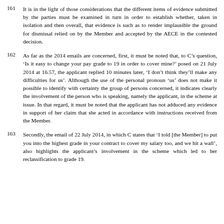161    It is in the light of those considerations that the different items of evidence submitted by the parties must be examined in turn in order to establish whether, taken in isolation and then overall, that evidence is such as to render implausible the ground for dismissal relied on by the Member and accepted by the AECE in the contested decision.
162    As far as the 2014 emails are concerned, first, it must be noted that, to C’s question, ‘Is it easy to change your pay grade to 19 in order to cover mine?’ posed on 21 July 2014 at 16.57, the applicant replied 10 minutes later, ‘I don’t think they’ll make any difficulties for us’. Although the use of the personal pronoun ‘us’ does not make it possible to identify with certainty the group of persons concerned, it indicates clearly the involvement of the person who is speaking, namely the applicant, in the scheme at issue. In that regard, it must be noted that the applicant has not adduced any evidence in support of her claim that she acted in accordance with instructions received from the Member.
163    Secondly, the email of 22 July 2014, in which C states that ‘I told [the Member] to put you into the highest grade in your contract to cover my salary too, and we hit a wall’, also highlights the applicant’s involvement in the scheme which led to her reclassification to grade 19.